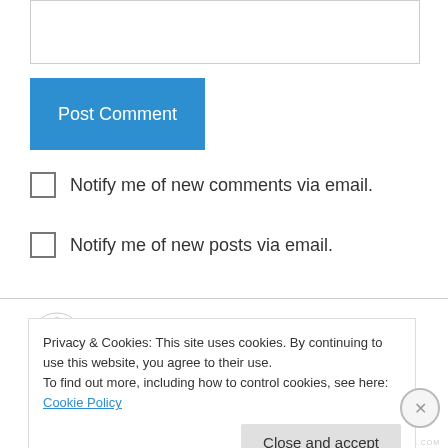[Figure (screenshot): Text input box (comment form field)]
Post Comment
Notify me of new comments via email.
Notify me of new posts via email.
Elizabeth Pitorak on July 10, 2013 at 7:57 am
Lorraine:
Privacy & Cookies: This site uses cookies. By continuing to use this website, you agree to their use.
To find out more, including how to control cookies, see here: Cookie Policy
Close and accept